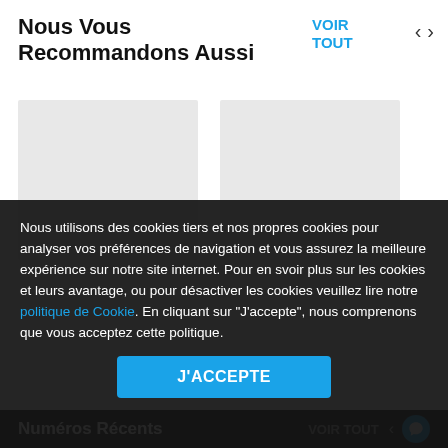Nous Vous Recommandons Aussi
VOIR TOUT
[Figure (other): Two gray placeholder card images in a carousel row]
Nous utilisons des cookies tiers et nos propres cookies pour analyser vos préférences de navigation et vous assurez la meilleure expérience sur notre site internet. Pour en svoir plus sur les cookies et leurs avantage, ou pour désactiver les cookies veuillez lire notre politique de Cookie. En cliquant sur "J'accepte", nous comprenons que vous acceptez cette politique.
J'ACCEPTE
Numéros Récents
VOIR TOUT